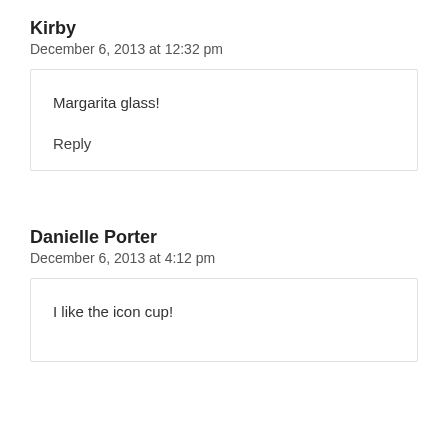Kirby
December 6, 2013 at 12:32 pm
Margarita glass!
Reply
Danielle Porter
December 6, 2013 at 4:12 pm
I like the icon cup!